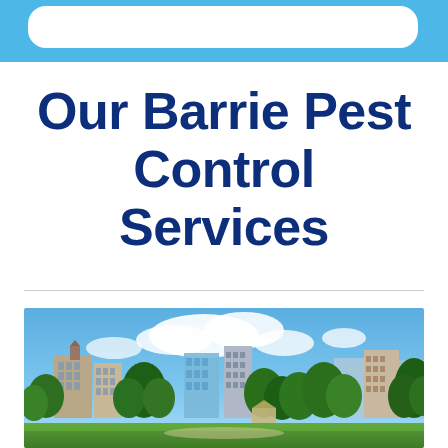Our Barrie Pest Control Services
[Figure (photo): Panoramic cityscape of Barrie, Ontario, showing downtown buildings, green trees, a gazebo in a park, and a blue sky with white clouds]